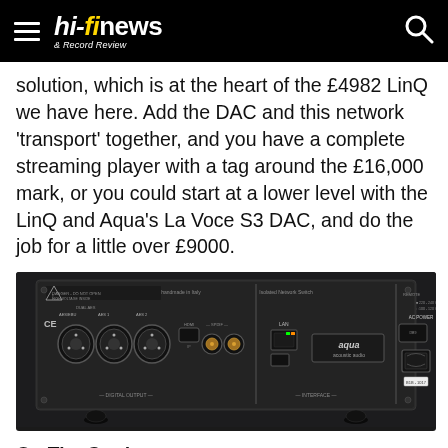hi-fi news & Record Review
solution, which is at the heart of the £4982 LinQ we have here. Add the DAC and this network 'transport' together, and you have a complete streaming player with a tag around the £16,000 mark, or you could start at a lower level with the LinQ and Aqua's La Voce S3 DAC, and do the job for a little over £9000.
[Figure (photo): Rear panel of the Aqua LinQ network audio device, showing digital outputs (AES/EBU XLR connectors), HDMI, SPDIF, LAN, USB, and AC power connections, made in Italy label visible.]
On The Cards
So what actually is the LinQ? Well, the connections